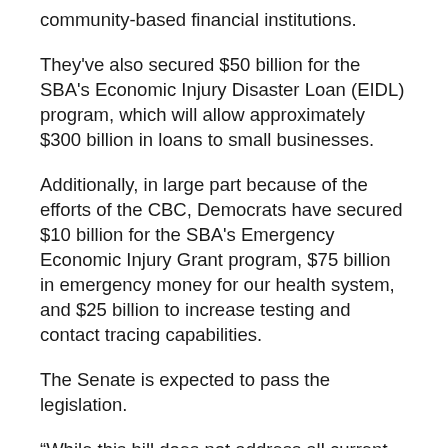community-based financial institutions.
They've also secured $50 billion for the SBA's Economic Injury Disaster Loan (EIDL) program, which will allow approximately $300 billion in loans to small businesses.
Additionally, in large part because of the efforts of the CBC, Democrats have secured $10 billion for the SBA's Emergency Economic Injury Grant program, $75 billion in emergency money for our health system, and $25 billion to increase testing and contact tracing capabilities.
The Senate is expected to pass the legislation.
“While this bill does not address all current needs of the coronavirus crisis, it is a major improvement and will help millions of Americans and our frontline workers,” Rep. Joyce Beatty (D-OH), stated on a conference call with the Black Press of America on Tuesday, April 21.
“Under the leadership of CBC Chair Karen Bass, the CBC has been on the frontlines, and without us, there would be no one fighting for our communities,” Beatty stated, adding that the CBC recognizes that more needs to be done. They will continue